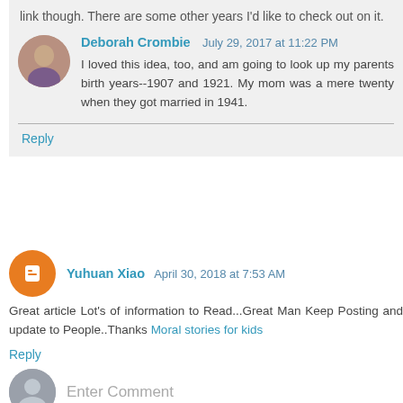link though. There are some other years I'd like to check out on it.
Deborah Crombie  July 29, 2017 at 11:22 PM
I loved this idea, too, and am going to look up my parents birth years--1907 and 1921. My mom was a mere twenty when they got married in 1941.
Reply
Yuhuan Xiao  April 30, 2018 at 7:53 AM
Great article Lot's of information to Read...Great Man Keep Posting and update to People..Thanks Moral stories for kids
Reply
Enter Comment